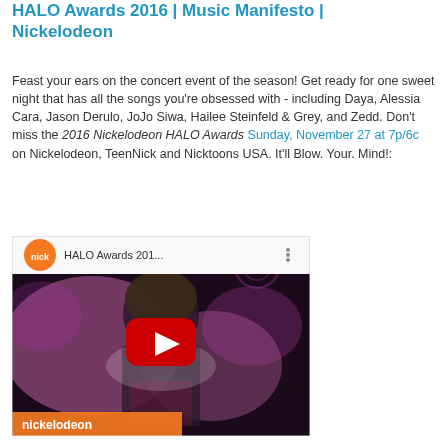HALO Awards 2016 | Music Manifesto | Nickelodeon
Feast your ears on the concert event of the season! Get ready for one sweet night that has all the songs you're obsessed with - including Daya, Alessia Cara, Jason Derulo, JoJo Siwa, Hailee Steinfeld & Grey, and Zedd. Don't miss the 2016 Nickelodeon HALO Awards Sunday, November 27 at 7p/6c on Nickelodeon, TeenNick and Nicktoons USA. It'll Blow. Your. Mind!:
[Figure (screenshot): YouTube video thumbnail showing a person with curly hair and a red YouTube play button overlay, with 'nick' orange logo and 'HALO Awards 201...' title in the top bar, and 'nickelodeon' branding at the bottom. Purple/pink concert-style background.]